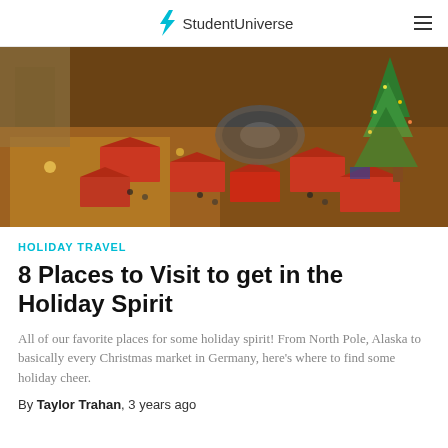StudentUniverse
[Figure (photo): Aerial view of a festive Christmas market with red-roofed stalls, a central fountain, crowds of people, and an illuminated Christmas tree at night.]
HOLIDAY TRAVEL
8 Places to Visit to get in the Holiday Spirit
All of our favorite places for some holiday spirit! From North Pole, Alaska to basically every Christmas market in Germany, here's where to find some holiday cheer.
By Taylor Trahan, 3 years ago